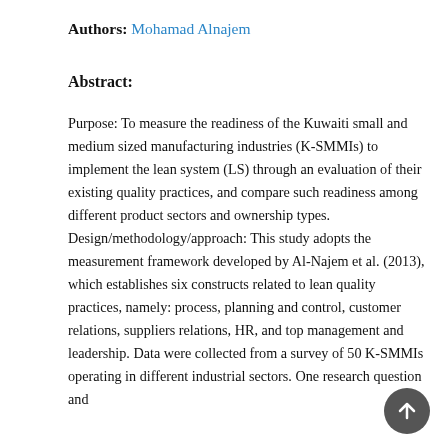Authors: Mohamad Alnajem
Abstract:
Purpose: To measure the readiness of the Kuwaiti small and medium sized manufacturing industries (K-SMMIs) to implement the lean system (LS) through an evaluation of their existing quality practices, and compare such readiness among different product sectors and ownership types. Design/methodology/approach: This study adopts the measurement framework developed by Al-Najem et al. (2013), which establishes six constructs related to lean quality practices, namely: process, planning and control, customer relations, suppliers relations, HR, and top management and leadership. Data were collected from a survey of 50 K-SMMIs operating in different industrial sectors. One research question and